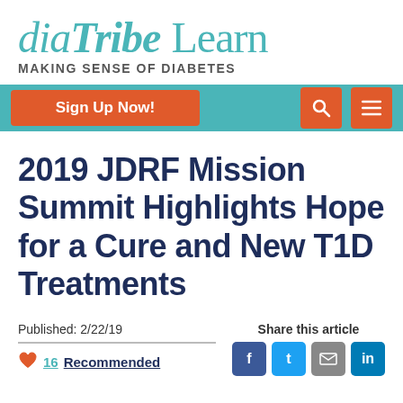[Figure (logo): diaTribe Learn logo with tagline MAKING SENSE OF DIABETES]
[Figure (screenshot): Navigation bar with Sign Up Now! button, search icon, and hamburger menu icon on teal background]
2019 JDRF Mission Summit Highlights Hope for a Cure and New T1D Treatments
Published: 2/22/19
16 Recommended
Share this article